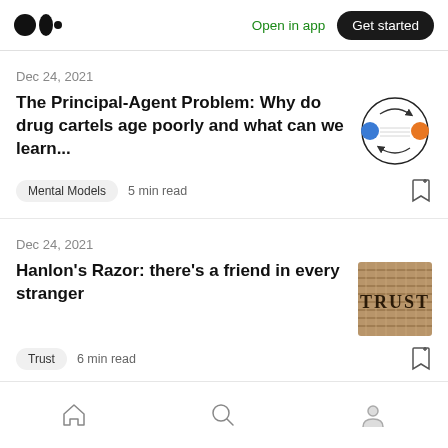Medium logo | Open in app | Get started
Dec 24, 2021
The Principal-Agent Problem: Why do drug cartels age poorly and what can we learn...
Mental Models  5 min read
[Figure (illustration): Circular diagram with blue and orange dots connected by arrows]
Dec 24, 2021
Hanlon's Razor: there's a friend in every stranger
Trust  6 min read
[Figure (photo): Burlap/jute texture with the word TRUST printed in dark serif letters]